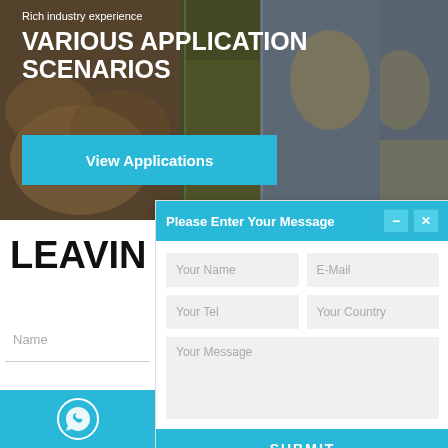[Figure (photo): Hero banner with food and pet images in background, dark overlay]
Rich industry experience
VARIOUS APPLICATION SCENARIOS
View Applications
Please Enter Your Message
LEAVIN
Name
Your Name
E-Mail
Your Tel
Your Country
Your Message
SUBMIT